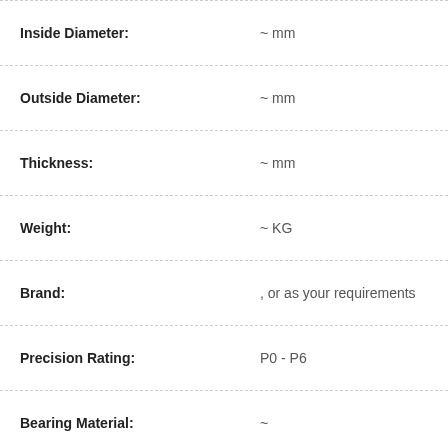| Property | Value |
| --- | --- |
| Inside Diameter: | ~ mm |
| Outside Diameter: | ~ mm |
| Thickness: | ~ mm |
| Weight: | ~ KG |
| Brand: | , or as your requirements |
| Precision Rating: | P0 - P6 |
| Bearing Material: | ~ |
| Seals Type: | ~ |
How can you buy fag-53316-bearing on the Internet? High quality fag-53316-bearing, Just click the button " Contact Now " to mention your purchase Requirement , Quantity and Contact Method of your requested Bearing fag-53316-bearing. then click the button " Send " The web site will make your purchasing